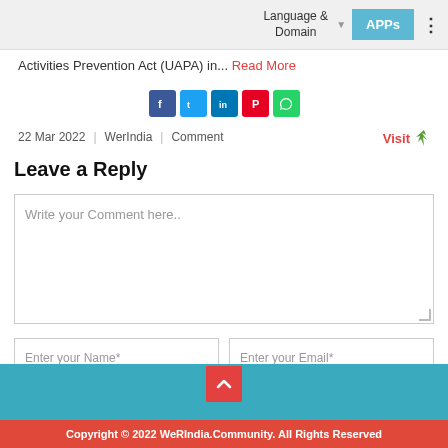Language & Domain  APPs
Activities Prevention Act (UAPA) in... Read More
[Figure (infographic): Social media sharing icons: Facebook, Twitter, LinkedIn, Pinterest, WhatsApp]
22 Mar 2022  |  WerIndia  |  Comment   Visit
Leave a Reply
Write your Comment here..
Enter your Name*
Enter your Email*
Submit
Copyright © 2022 WeRIndia.Community. All Rights Reserved